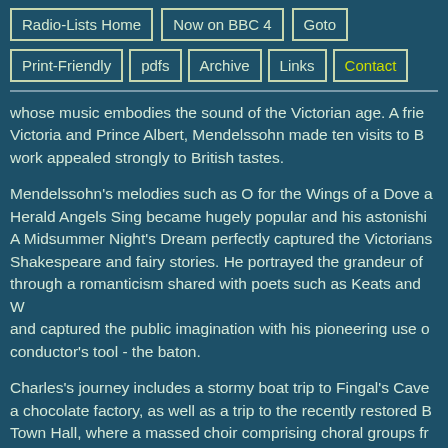Radio-Lists Home
Now on BBC 4
Goto
Print-Friendly
pdfs
Archive
Links
Contact
whose music embodies the sound of the Victorian age. A friend of Victoria and Prince Albert, Mendelssohn made ten visits to Britain and his work appealed strongly to British tastes.
Mendelssohn's melodies such as O for the Wings of a Dove and Hark the Herald Angels Sing became hugely popular and his astonishing music for A Midsummer Night's Dream perfectly captured the Victorians' love of Shakespeare and fairy stories. He portrayed the grandeur of the landscape through a romanticism shared with poets such as Keats and Wordsworth and captured the public imagination with his pioneering use of the conductor's tool - the baton.
Charles's journey includes a stormy boat trip to Fingal's Cave and a visit to a chocolate factory, as well as a trip to the recently restored Birmingham Town Hall, where a massed choir comprising choral groups from across the West Midlands is brought together with the BBC Concert Orchestra and soloist Andrew Shore to perform extracts from Mendelssohn's great oratorio Elijah.